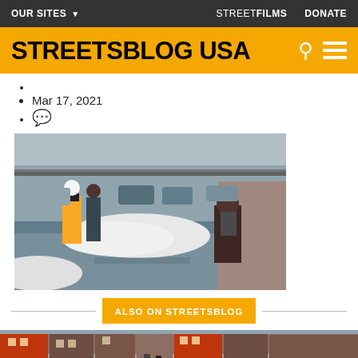OUR SITES  STREETFILMS  DONATE
STREETSBLOG USA
Mar 17, 2021
💬
[Figure (photo): A snowy sidewalk scene with large piles of snow blocking the path. A person in a dark coat with backpack faces away, squeezing past a snow pile near a building wall. In the background, another person in a bright yellow/green safety vest walks away.]
ALSO ON STREETSBLOG
[Figure (photo): Bottom preview image showing a street scene with brownstone buildings.]